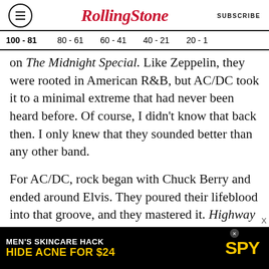Rolling Stone | SUBSCRIBE
100 - 81   80 - 61   60 - 41   40 - 21   20 - 1
on The Midnight Special. Like Zeppelin, they were rooted in American R&B, but AC/DC took it to a minimal extreme that had never been heard before. Of course, I didn't know that back then. I only knew that they sounded better than any other band.
For AC/DC, rock began with Chuck Berry and ended around Elvis. They poured their lifeblood into that groove, and they mastered it. Highway to Hell is probably the most natural-sounding rock
[Figure (other): Advertisement banner: MEN'S SKINCARE HACK HIDE ACNE FOR $24 - SPY brand ad on black background with yellow text]